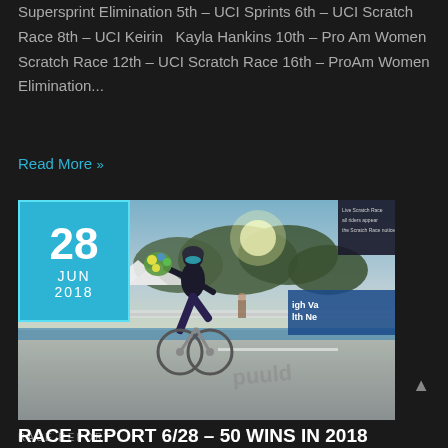Supersprint Elimination 5th – UCI Sprints 6th – UCI Scratch Race 8th – UCI Keirin  Kayla Hankins 10th – Pro Am Women Scratch Race 12th – UCI Scratch Race 16th – ProAm Women Elimination...
Read More »
[Figure (photo): Female cyclist on velodrome track holding flowers, with date badge showing 28 JUN 2018 overlaid in cyan/blue square in top-left corner. Sponsor banners visible in background including 'Lehigh Valley Health Network'.]
RACE REPORT
RACE REPORT 6/28 – 50 WINS IN 2018